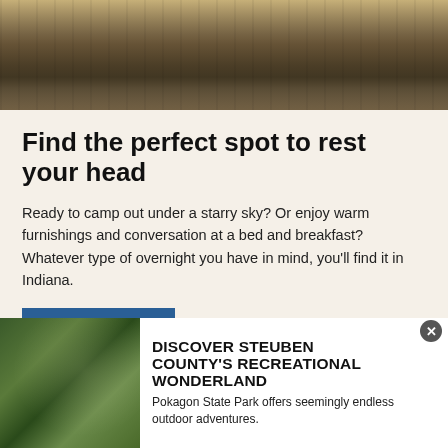[Figure (photo): Aerial view of a grand hotel courtyard with symmetrical architecture, outdoor seating with red chairs, and ornate lighting]
Find the perfect spot to rest your head
Ready to camp out under a starry sky? Or enjoy warm furnishings and conversation at a bed and breakfast? Whatever type of overnight you have in mind, you'll find it in Indiana.
READ MORE
[Figure (photo): Woman and child on horseback in a wooded forest setting, looking up into the trees]
DISCOVER STEUBEN COUNTY'S RECREATIONAL WONDERLAND
Pokagon State Park offers seemingly endless outdoor adventures.